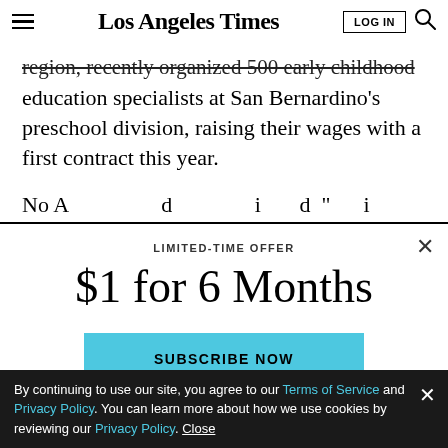Los Angeles Times
region, recently organized 500 early childhood education specialists at San Bernardino's preschool division, raising their wages with a first contract this year.
No A... ...d ...i d "...i
LIMITED-TIME OFFER
$1 for 6 Months
SUBSCRIBE NOW
By continuing to use our site, you agree to our Terms of Service and Privacy Policy. You can learn more about how we use cookies by reviewing our Privacy Policy. Close